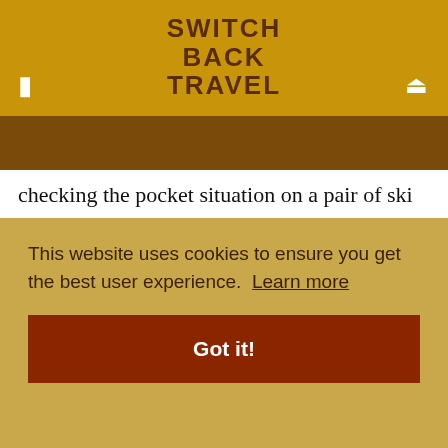SWITCH BACK TRAVEL
checking the pocket situation on a pair of ski pants you’re eyeing. We recommend keeping it simple and looking for a couple of zippered pockets that can fit snacks or personal effects. Unless you really need the extra capacity, we’re not huge fans of cargo pockets for resort skiing—filling them with larger items feels ungainly on the mountain. Backcountry-specific pants like the [partially visible] is on [partially visible] vice.
This website uses cookies to ensure you get the best user experience. Learn more
Got it!
[Figure (photo): Partial photo of colorful ski gear/clothing at bottom right]